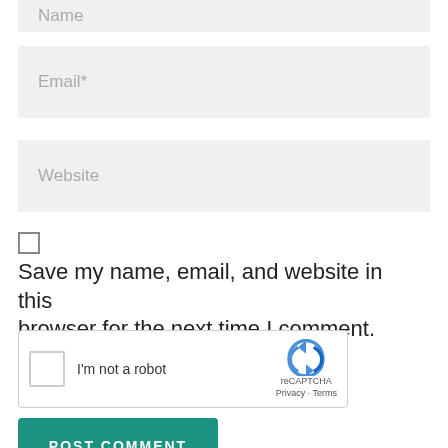[Figure (screenshot): Name input field (partially visible at top, grey background)]
[Figure (screenshot): Email* input field with grey background]
[Figure (screenshot): Website input field with grey background]
Save my name, email, and website in this browser for the next time I comment.
[Figure (screenshot): reCAPTCHA widget with checkbox and 'I'm not a robot' label, reCAPTCHA logo, Privacy and Terms links]
[Figure (screenshot): POST COMMENT button in teal/green color]